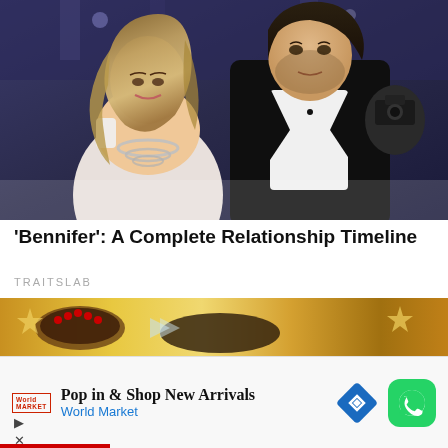[Figure (photo): Jennifer Lopez and Ben Affleck posing together at a formal event. Jennifer wears a white low-cut dress with a silver necklace; Ben wears a black tuxedo with bow tie. A photographer is visible in the background.]
'Bennifer': A Complete Relationship Timeline
TRAITSLAB
[Figure (photo): Advertisement banner image showing decorative items on a warm golden/brown background.]
Pop in & Shop New Arrivals
World Market